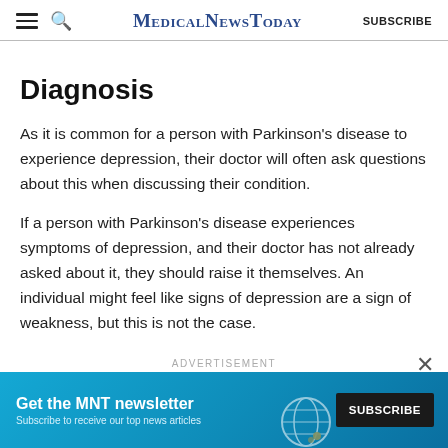MedicalNewsToday
Diagnosis
As it is common for a person with Parkinson’s disease to experience depression, their doctor will often ask questions about this when discussing their condition.
If a person with Parkinson’s disease experiences symptoms of depression, and their doctor has not already asked about it, they should raise it themselves. An individual might feel like signs of depression are a sign of weakness, but this is not the case.
[Figure (other): Advertisement banner for MNT newsletter subscription with teal/blue background, headline 'Get the MNT newsletter', subline 'Subscribe to receive our top news articles', and a black SUBSCRIBE button.]